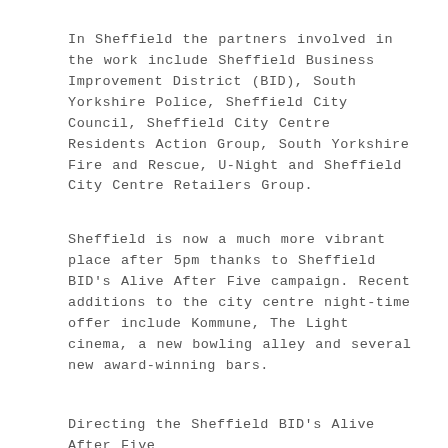In Sheffield the partners involved in the work include Sheffield Business Improvement District (BID), South Yorkshire Police, Sheffield City Council, Sheffield City Centre Residents Action Group, South Yorkshire Fire and Rescue, U-Night and Sheffield City Centre Retailers Group.
Sheffield is now a much more vibrant place after 5pm thanks to Sheffield BID's Alive After Five campaign. Recent additions to the city centre night-time offer include Kommune, The Light cinema, a new bowling alley and several new award-winning bars.
Directing the Sheffield BID's Alive After Five